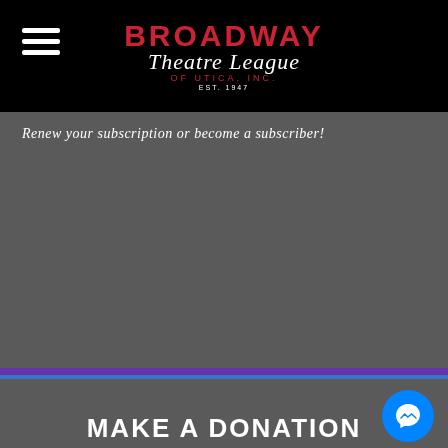[Figure (logo): Broadway Theatre League of Utica Inc. logo — BROADWAY in red bold caps, Theatre League in white italic script, OF UTICA, INC. in red small caps, EST 1947 below]
Renew your subscription or become a subscriber!
SUBSCRIBER INFO ›
[Figure (logo): Facebook Messenger icon — blue circle with white lightning bolt chat bubble]
MAKE A DONATION